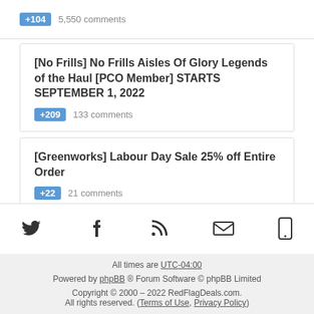+104  5,550 comments
[No Frills] No Frills Aisles Of Glory Legends of the Haul [PCO Member] STARTS SEPTEMBER 1, 2022
+209  133 comments
[Greenworks] Labour Day Sale 25% off Entire Order
+22  21 comments
[Figure (infographic): Social media icons: Twitter, Facebook, RSS feed, Email, Mobile]
All times are UTC-04:00
Powered by phpBB ® Forum Software © phpBB Limited
Copyright © 2000 – 2022 RedFlagDeals.com. All rights reserved. (Terms of Use, Privacy Policy)